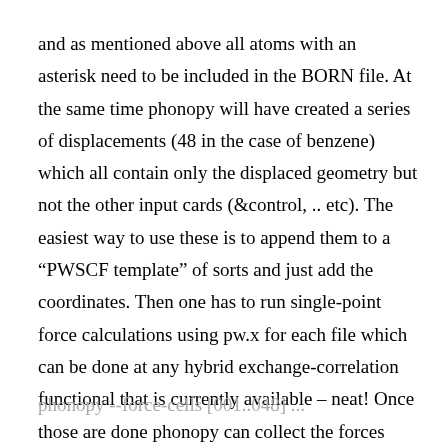and as mentioned above all atoms with an asterisk need to be included in the BORN file. At the same time phonopy will have created a series of displacements (48 in the case of benzene) which all contain only the displaced geometry but not the other input cards (&control, .. etc). The easiest way to use these is to append them to a “PWSCF template” of sorts and just add the coordinates. Then one has to run single-point force calculations using pw.x for each file which can be done at any hybrid exchange-correlation functional that is currently available – neat! Once those are done phonopy can collect the forces from all the separate out-files by using
phonopy --force-cells [001..048] ...